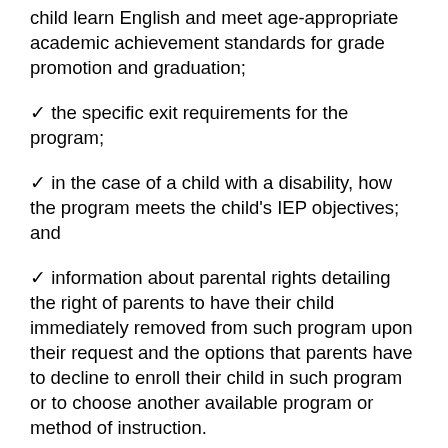how the program will specifically help their child learn English and meet age-appropriate academic achievement standards for grade promotion and graduation;
✓ the specific exit requirements for the program;
✓ in the case of a child with a disability, how the program meets the child's IEP objectives; and
✓ information about parental rights detailing the right of parents to have their child immediately removed from such program upon their request and the options that parents have to decline to enroll their child in such program or to choose another available program or method of instruction.
For a child not identified as an English learner prior to the beginning of the school year, the